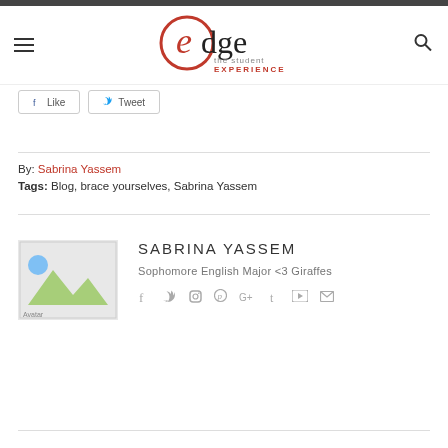edge the student EXPERIENCE
Like  Tweet
By: Sabrina Yassem
Tags: Blog, brace yourselves, Sabrina Yassem
[Figure (photo): Avatar placeholder image]
SABRINA YASSEM
Sophomore English Major <3 Giraffes
Social icons: facebook, twitter, instagram, pinterest, google+, tumblr, youtube, email